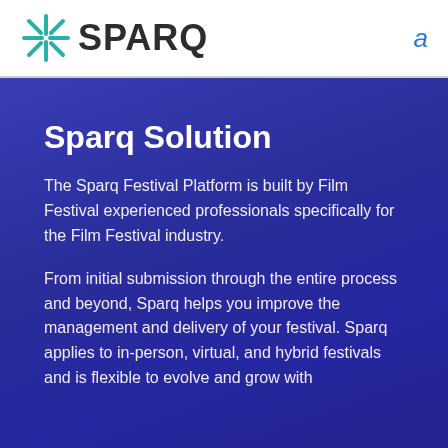[Figure (logo): SPARQ logo with teal starburst/asterisk icon on the left and bold dark text 'SPARQ' on the right]
a
Sparq Solution
The Sparq Festival Platform is built by Film Festival experienced professionals specifically for the Film Festival industry.
From initial submission through the entire process and beyond, Sparq helps you improve the management and delivery of your festival. Sparq applies to in-person, virtual, and hybrid festivals and is flexible to evolve and grow with